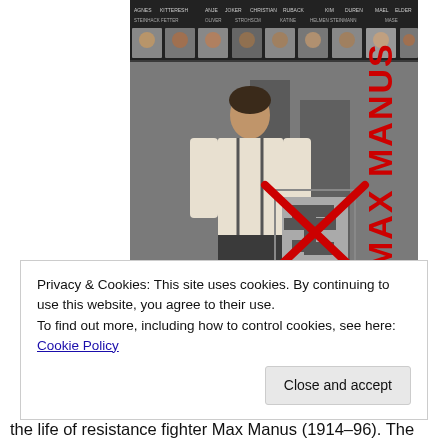[Figure (photo): Movie poster for 'Max Manus' showing a man in 1940s clothing with suspenders, a crossed-out Nazi swastika symbol, and red text reading MAX MANUS. Top portion shows cast names and headshots.]
Privacy & Cookies: This site uses cookies. By continuing to use this website, you agree to their use.
To find out more, including how to control cookies, see here: Cookie Policy
the life of resistance fighter Max Manus (1914–96). The